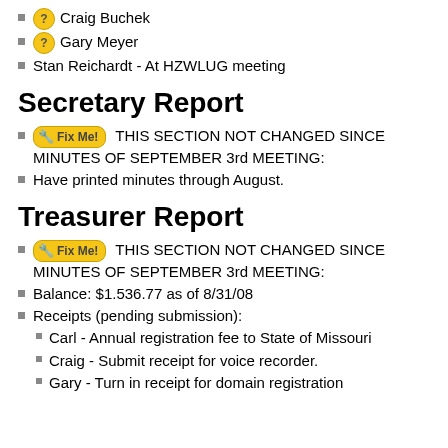Craig Buchek
Gary Meyer
Stan Reichardt - At HZWLUG meeting
Secretary Report
Fix Me! THIS SECTION NOT CHANGED SINCE MINUTES OF SEPTEMBER 3rd MEETING:
Have printed minutes through August.
Treasurer Report
Fix Me! THIS SECTION NOT CHANGED SINCE MINUTES OF SEPTEMBER 3rd MEETING:
Balance: $1.536.77 as of 8/31/08
Receipts (pending submission):
Carl - Annual registration fee to State of Missouri
Craig - Submit receipt for voice recorder.
Gary - Turn in receipt for domain registration